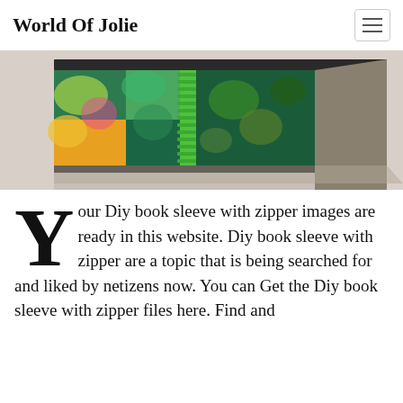World Of Jolie
[Figure (photo): Close-up photo of a colorful DIY book sleeve with zipper, featuring green, teal, and multicolor patterned fabric with a green zipper, resting on a light surface.]
Your Diy book sleeve with zipper images are ready in this website. Diy book sleeve with zipper are a topic that is being searched for and liked by netizens now. You can Get the Diy book sleeve with zipper files here. Find and